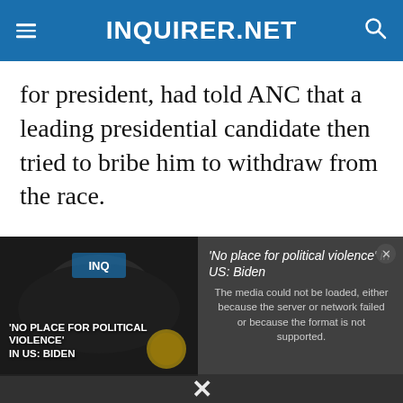INQUIRER.NET
for president, had told ANC that a leading presidential candidate then tried to bribe him to withdraw from the race.
[Figure (screenshot): Video player overlay showing error message 'The media could not be loaded, either because the server or network failed or because the format is not supported.' alongside a video thumbnail with text 'NO PLACE FOR POLITICAL VIOLENCE IN US: BIDEN' and a headline "'No place for political violence' in US: Biden". A close button and X dismiss button are visible.]